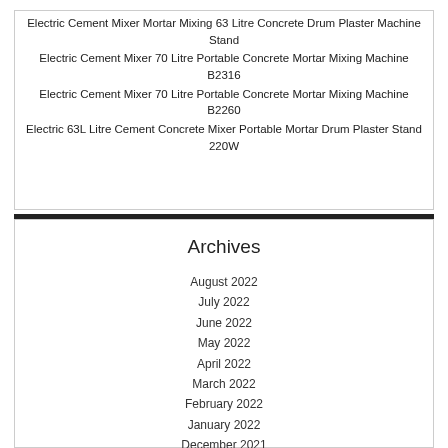Electric Cement Mixer Mortar Mixing 63 Litre Concrete Drum Plaster Machine Stand
Electric Cement Mixer 70 Litre Portable Concrete Mortar Mixing Machine B2316
Electric Cement Mixer 70 Litre Portable Concrete Mortar Mixing Machine B2260
Electric 63L Litre Cement Concrete Mixer Portable Mortar Drum Plaster Stand 220W
Archives
August 2022
July 2022
June 2022
May 2022
April 2022
March 2022
February 2022
January 2022
December 2021